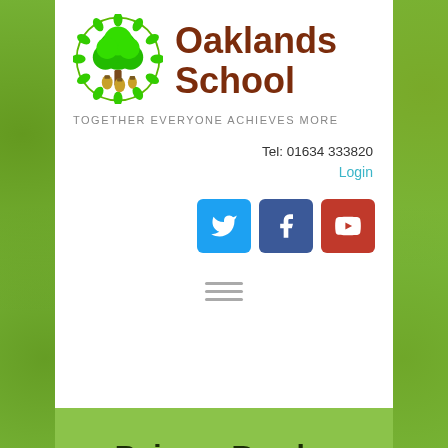[Figure (logo): Oaklands School logo: circular green oak leaf wreath with a green tree and brown acorns]
Oaklands School
TOGETHER EVERYONE ACHIEVES MORE
Tel: 01634 333820
Login
[Figure (infographic): Social media icons: Twitter (blue), Facebook (dark blue), YouTube (red)]
[Figure (other): Hamburger menu icon (three horizontal lines)]
Being a Reader